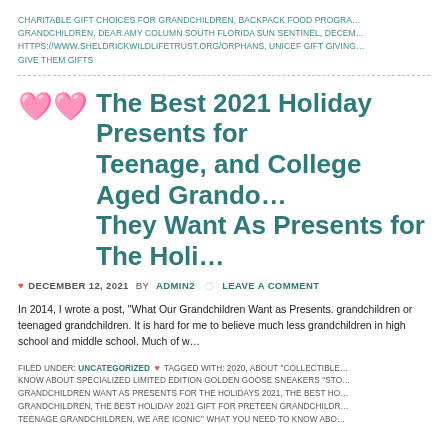CHARITABLE GIFT CHOICES FOR GRANDCHILDREN, BACKPACK FOOD PROGRAM GRANDCHILDREN, DEAR AMY COLUMN SOUTH FLORIDA SUN SENTINEL, DECEMBER HTTPS://WWW.SHELDRICKWILDLIFETRUST.ORG/ORPHANS, UNICEF GIFT GIVING GIVE THEM GIFTS
The Best 2021 Holiday Presents for Teenage, and College Aged Grandchildren They Want As Presents for The Holidays
DECEMBER 12, 2021 BY ADMIN2  LEAVE A COMMENT
In 2014, I wrote a post, "What Our Grandchildren Want as Presents. grandchildren or teenaged grandchildren. It is hard for me to believe much less grandchildren in high school and middle school. Much of w
FILED UNDER: UNCATEGORIZED  TAGGED WITH: 2020, ABOUT "COLLECTIBLE KNOW ABOUT SPECIALIZED LIMITED EDITION GOLDEN GOOSE SNEAKERS "STO GRANDCHILDREN WANT AS PRESENTS FOR THE HOLIDAYS 2021, THE BEST HO GRANDCHILDREN, THE BEST HOLIDAY 2021 GIFT FOR PRETEEN GRANDCHILDR TEENAGE GRANDCHILDREN, WE ARE ICONIC" WHAT YOU NEED TO KNOW ABO